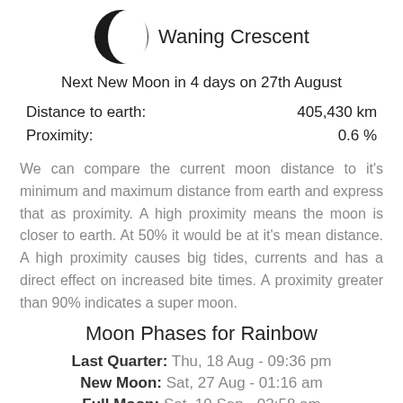[Figure (illustration): Waning Crescent moon phase icon — a black circle with a crescent visible on the right side]
Waning Crescent
Next New Moon in 4 days on 27th August
| Distance to earth: | 405,430 km |
| Proximity: | 0.6 % |
We can compare the current moon distance to it's minimum and maximum distance from earth and express that as proximity. A high proximity means the moon is closer to earth. At 50% it would be at it's mean distance. A high proximity causes big tides, currents and has a direct effect on increased bite times. A proximity greater than 90% indicates a super moon.
Moon Phases for Rainbow
Last Quarter: Thu, 18 Aug - 09:36 pm
New Moon: Sat, 27 Aug - 01:16 am
Full Moon: Sat, 10 Sep - 02:58 am